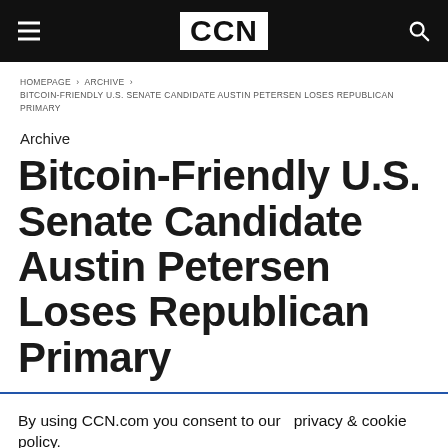CCN
HOMEPAGE › ARCHIVE › BITCOIN-FRIENDLY U.S. SENATE CANDIDATE AUSTIN PETERSEN LOSES REPUBLICAN PRIMARY
Archive
Bitcoin-Friendly U.S. Senate Candidate Austin Petersen Loses Republican Primary
By using CCN.com you consent to our privacy & cookie policy.